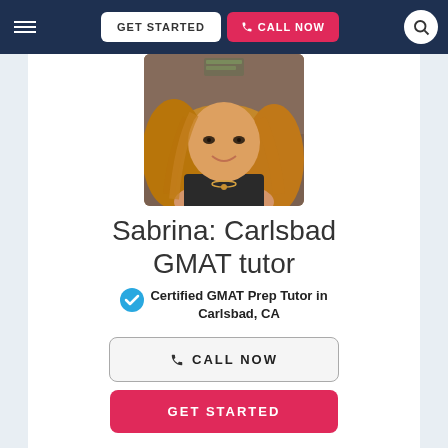GET STARTED | CALL NOW
[Figure (photo): Profile photo of Sabrina, a woman with long blonde hair smiling]
Sabrina: Carlsbad GMAT tutor
Certified GMAT Prep Tutor in Carlsbad, CA
CALL NOW
GET STARTED